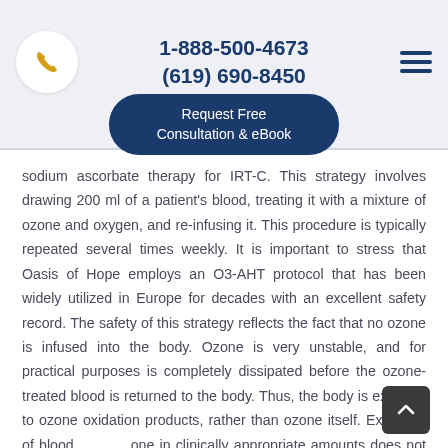1-888-500-4673 (619) 690-8450
Request Free Consultation & eBook
sodium ascorbate therapy for IRT-C. This strategy involves drawing 200 ml of a patient's blood, treating it with a mixture of ozone and oxygen, and re-infusing it. This procedure is typically repeated several times weekly. It is important to stress that Oasis of Hope employs an O3-AHT protocol that has been widely utilized in Europe for decades with an excellent safety record. The safety of this strategy reflects the fact that no ozone is infused into the body. Ozone is very unstable, and for practical purposes is completely dissipated before the ozone-treated blood is returned to the body. Thus, the body is exposed to ozone oxidation products, rather than ozone itself. Exposure of blood to ozone in clinically appropriate amounts does not cause lysis of red blood cells, or compromise the functional viability of white